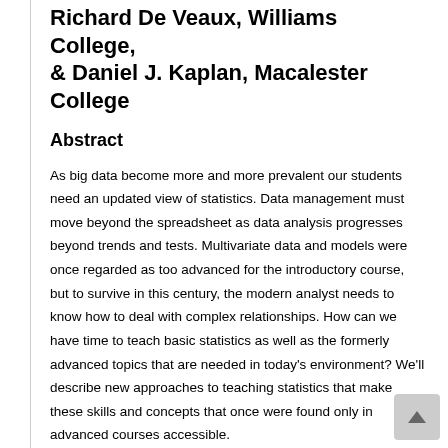Richard De Veaux, Williams College, & Daniel J. Kaplan, Macalester College
Abstract
As big data become more and more prevalent our students need an updated view of statistics. Data management must move beyond the spreadsheet as data analysis progresses beyond trends and tests. Multivariate data and models were once regarded as too advanced for the introductory course, but to survive in this century, the modern analyst needs to know how to deal with complex relationships. How can we have time to teach basic statistics as well as the formerly advanced topics that are needed in today's environment? We'll describe new approaches to teaching statistics that make these skills and concepts that once were found only in advanced courses accessible.